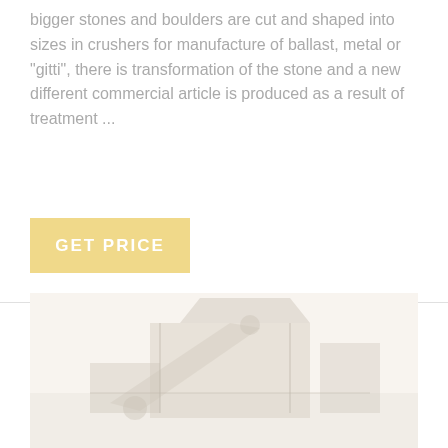bigger stones and boulders are cut and shaped into sizes in crushers for manufacture of ballast, metal or "gitti", there is transformation of the stone and a new different commercial article is produced as a result of treatment ...
[Figure (other): Yellow/gold colored button with text GET PRICE]
[Figure (photo): Faded/watermarked photograph of stone crushing machinery or industrial equipment at bottom of page]